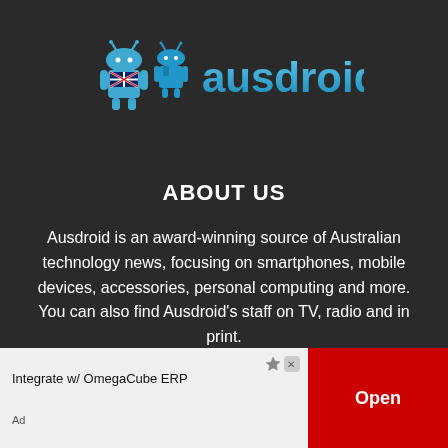[Figure (logo): Ausdroid logo — two Android robot figures with Australian flag motifs, next to the text 'ausdroid' in blue gradient lettering]
ABOUT US
Ausdroid is an award-winning source of Australian technology news, focusing on smartphones, mobile devices, accessories, personal computing and more. You can also find Ausdroid's staff on TV, radio and in print.
FOLLOW US
[Figure (illustration): Social media icons — Facebook and Twitter (X) logos partially visible]
[Figure (infographic): Advertisement banner: 'Integrate w/ OmegaCube ERP' with an 'Open' button on red background]